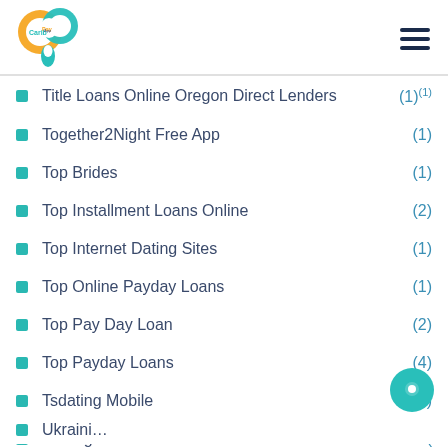Carib Pay App
Title Loans Online Oregon Direct Lenders (1)
Together2Night Free App (1)
Top Brides (1)
Top Installment Loans Online (2)
Top Internet Dating Sites (1)
Top Online Payday Loans (1)
Top Pay Day Loan (2)
Top Payday Loans (4)
Tsdating Mobile (1)
Ucategorized (
Ukraini... (1)